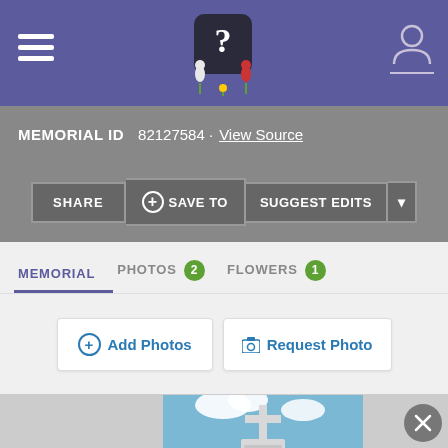Navigation bar with hamburger menu, Find A Grave logo, and user account icon
MEMORIAL ID  82127584 · View Source
SHARE  + SAVE TO  SUGGEST EDITS ▾
MEMORIAL  PHOTOS 2  FLOWERS 1
+ Add Photos   📷 Request Photo
[Figure (photo): Gravestone with a cross on top in a cemetery, blue sky with clouds, green grass]